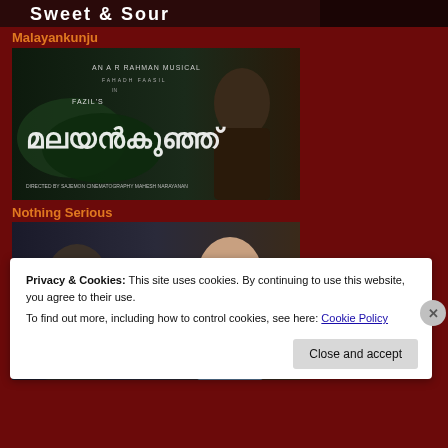[Figure (screenshot): Top banner with stylized text (Sweet & Sour or similar title) on dark background]
Malayankunju
[Figure (photo): Malayankunju Malayalam film poster: AN A R RAHMAN MUSICAL, FAHADH FAASIL in FAZIL'S Malayankunju, DIRECTED BY SAJEMON, CINEMATOGRAPHY BY MAHESH NARAYANAN]
Nothing Serious
[Figure (photo): Nothing Serious Korean film poster with Korean text (연애 빠진 로맨스) and two leads facing each other]
Privacy & Cookies: This site uses cookies. By continuing to use this website, you agree to their use.
To find out more, including how to control cookies, see here: Cookie Policy
Close and accept